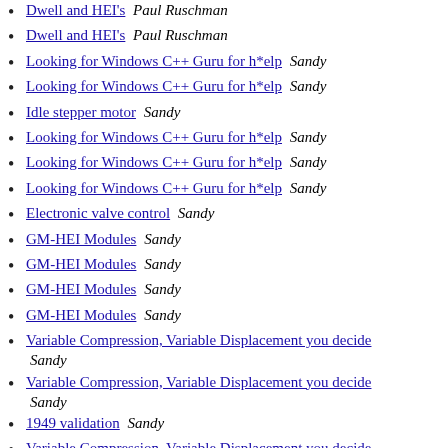Dwell and HEI's  Paul Ruschman
Dwell and HEI's  Paul Ruschman
Looking for Windows C++ Guru for h*elp  Sandy
Looking for Windows C++ Guru for h*elp  Sandy
Idle stepper motor  Sandy
Looking for Windows C++ Guru for h*elp  Sandy
Looking for Windows C++ Guru for h*elp  Sandy
Looking for Windows C++ Guru for h*elp  Sandy
Electronic valve control  Sandy
GM-HEI Modules  Sandy
GM-HEI Modules  Sandy
GM-HEI Modules  Sandy
GM-HEI Modules  Sandy
Variable Compression, Variable Displacement you decide  Sandy
Variable Compression, Variable Displacement you decide  Sandy
1949 validation  Sandy
Variable Compression, Variable Displacement you decide  Sandy
GM-HEI Modules  Sandy
HEI HEI  Sandy
HEI HEI  Sandy
Dwell and HEI's  Sandy
Dwell and HEI's  Sandy